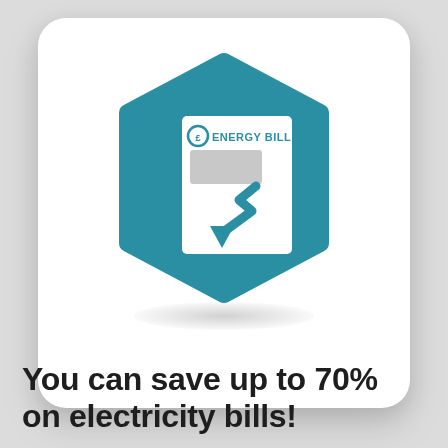[Figure (infographic): A teal hexagon icon containing a white energy bill document with a pound sign, the text 'ENERGY BILL', a grey rectangle placeholder, and a teal downward-trending arrow chart indicating falling costs. The hexagon sits on a white rounded-rectangle card with a drop shadow, on a light grey background.]
You can save up to 70% on electricity bills!